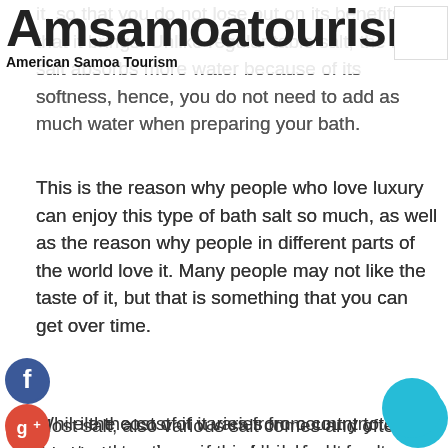Amsamoatourism
American Samoa Tourism
it, so that you do not lose out on its benefits that it brings. Unlike regular table salt, the bath salt absorbs more water because of its softness, hence, you do not need to add as much water when preparing your bath.
This is the reason why people who love luxury can enjoy this type of bath salt so much, as well as the reason why people in different parts of the world love it. Many people may not like the taste of it, but that is something that you can get over time.
While the cost of it varies from country to country, the prices of this kind of salt are on par with other types of salts. So, it is still not something that you cannot afford to buy. If you are looking for a treat to have once in a while, then you do not have to worry about spending too much.
Most salt, also various salt comes and often this kind to